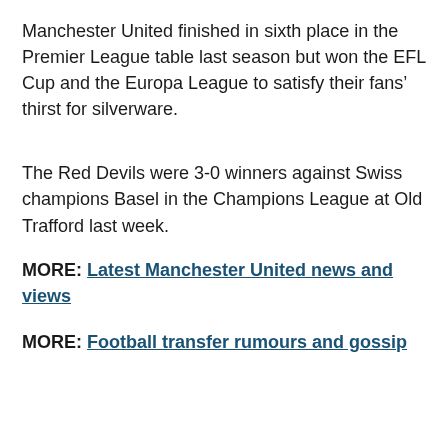Manchester United finished in sixth place in the Premier League table last season but won the EFL Cup and the Europa League to satisfy their fans’ thirst for silverware.
The Red Devils were 3-0 winners against Swiss champions Basel in the Champions League at Old Trafford last week.
MORE: Latest Manchester United news and views
MORE: Football transfer rumours and gossip